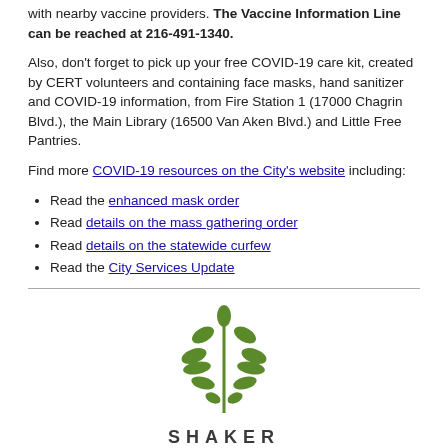with nearby vaccine providers. The Vaccine Information Line can be reached at 216-491-1340.
Also, don't forget to pick up your free COVID-19 care kit, created by CERT volunteers and containing face masks, hand sanitizer and COVID-19 information, from Fire Station 1 (17000 Chagrin Blvd.), the Main Library (16500 Van Aken Blvd.) and Little Free Pantries.
Find more COVID-19 resources on the City's website including:
Read the enhanced mask order
Read details on the mass gathering order
Read details on the statewide curfew
Read the City Services Update
[Figure (logo): Shaker Heights city logo — green leaf/plant emblem above the word SHAKER in bold capital letters]